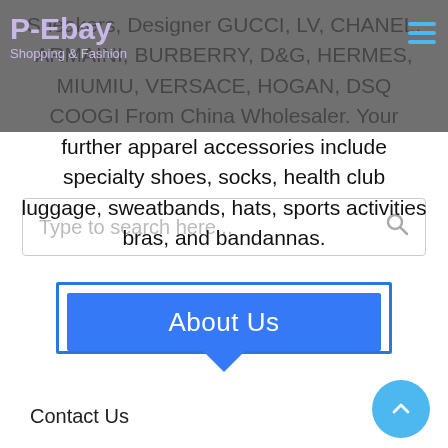P-Ebay / Shopping & Fashion
Sneakers, Designer GUCCI, LV, CHANEL, ARMAINI, BURBERRY, D&G, HERMES, MIUMIU, VERSACE, HOGAN, DSQ COOGI From China Wholesaler. Your further apparel accessories include specialty shoes, socks, health club luggage, sweatbands, hats, sports activities bras, and bandannas.
Type to search here...
About Us
Contact Us